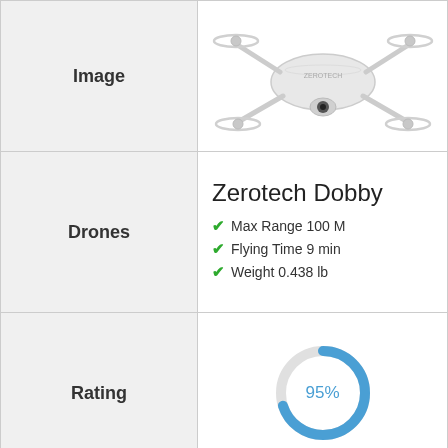| Image |  |
| --- | --- |
| Image | [drone photo] |
| Drones | Zerotech Dobby
Max Range 100 M
Flying Time 9 min
Weight 0.438 lb |
| Rating | 95% |
| Buy Now | VIEW ON AMAZON |
[Figure (photo): White foldable drone (Zerotech Dobby) on white background]
[Figure (donut-chart): Rating]